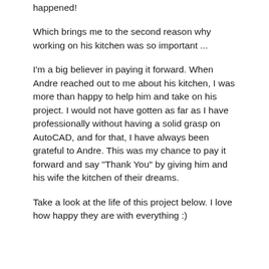happened!
Which brings me to the second reason why working on his kitchen was so important ...
I'm a big believer in paying it forward. When Andre reached out to me about his kitchen, I was more than happy to help him and take on his project. I would not have gotten as far as I have professionally without having a solid grasp on AutoCAD, and for that, I have always been grateful to Andre. This was my chance to pay it forward and say "Thank You" by giving him and his wife the kitchen of their dreams.
Take a look at the life of this project below. I love how happy they are with everything :)